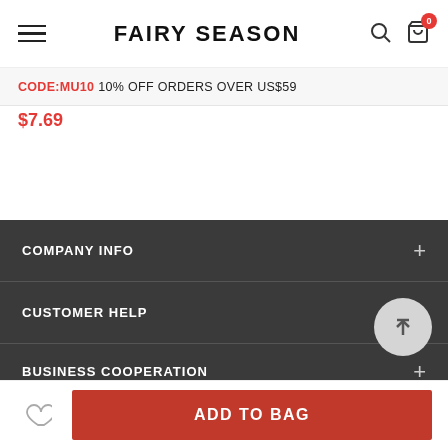FAIRY SEASON
CODE:MU10 10% OFF ORDERS OVER US$59
$7.69
COMPANY INFO
CUSTOMER HELP
BUSINESS COOPERATION
SUBSCRIBE TO RECEIVE A 10% OFF COUPON
ADD TO BAG